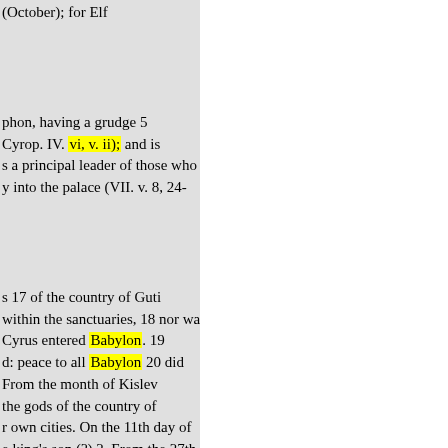(October); for Elf
phon, having a grudge 5
Cyrop. IV. vi, v. ii); and is
a principal leader of those who
y into the palace (VII. v. 8, 24-
s 17 of the country of Guti
within the sanctuaries, 18 nor was
Cyrus entered Babylon. 19
d: peace to all Babylon 20 did
From the month of Kislev
the gods of the country of
r own cities. On the 11th day of
e king's son (?) 2. From the 27th
: all the people smote their